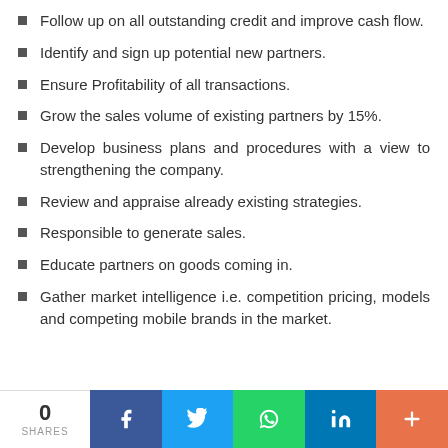Follow up on all outstanding credit and improve cash flow.
Identify and sign up potential new partners.
Ensure Profitability of all transactions.
Grow the sales volume of existing partners by 15%.
Develop business plans and procedures with a view to strengthening the company.
Review and appraise already existing strategies.
Responsible to generate sales.
Educate partners on goods coming in.
Gather market intelligence i.e. competition pricing, models and competing mobile brands in the market.
0 SHARES [Facebook] [Twitter] [WhatsApp] [LinkedIn] [More]